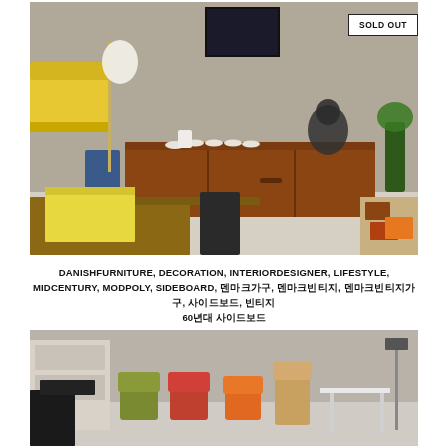[Figure (photo): Interior shop scene showing a mid-century teak sideboard/credenza with teacups and saucers and a black poodle sculpture on top. Yellow sofa and various furniture visible in background. Books and decorative items on foreground table. SOLD OUT badge in top right corner.]
DANISHFURNITURE, DECORATION, INTERIORDESIGNER, LIFESTYLE, MIDCENTURY, MODPOLY, SIDEBOARD, 덴마크가구, 덴마크빈티지, 덴마크빈티지가구, 사이드보드, 빈티지
60년대 사이드보드
[Figure (photo): Interior shop scene showing mid-century modern chairs and furniture in various colors including olive, red, and orange, with shelving units and a white table visible.]